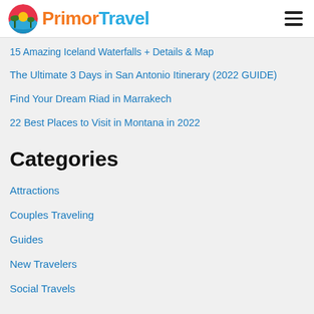PrimorTravel
15 Amazing Iceland Waterfalls + Details & Map
The Ultimate 3 Days in San Antonio Itinerary (2022 GUIDE)
Find Your Dream Riad in Marrakech
22 Best Places to Visit in Montana in 2022
Categories
Attractions
Couples Traveling
Guides
New Travelers
Social Travels